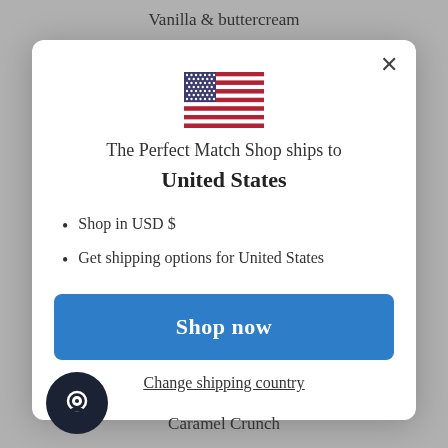Vanilla & buttercream
[Figure (screenshot): Modal dialog showing US flag, shipping info, and shop now button]
Caramel Crunch